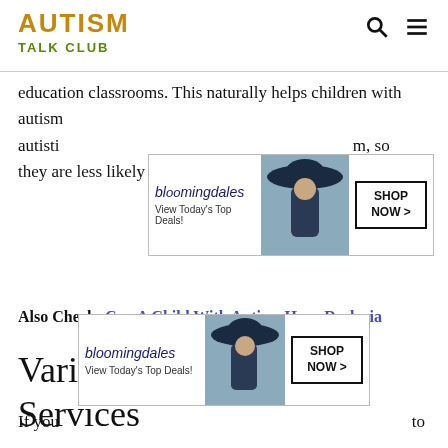AUTISM TALK CLUB
education classrooms. This naturally helps children with autism[...] autisti[...] m, so they are less likely to see those children as targets.
[Figure (other): Bloomingdales advertisement banner: View Today's Top Deals! with model in wide-brim hat and SHOP NOW button]
Also Check: Can A Child With Autism Have Dyslexia
Varied Availability Of Services
Adults with autism are entitled to nothing but are likely to receive at least some level of support. If you live in some states, you'll have little trouble accessing services and funding for adults with autism.
[Figure (other): Bloomingdales advertisement banner at bottom: View Today's Top Deals! with model in wide-brim hat, SHOP NOW button, and CLOSE button]
If you[...] to